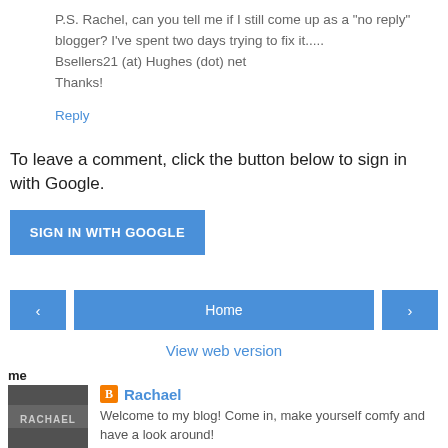P.S. Rachel, can you tell me if I still come up as a "no reply" blogger? I've spent two days trying to fix it.....
Bsellers21 (at) Hughes (dot) net
Thanks!
Reply
To leave a comment, click the button below to sign in with Google.
SIGN IN WITH GOOGLE
‹
Home
›
View web version
me
[Figure (photo): Profile photo with handwritten name 'RACHAEL' on dark background]
Rachael
Welcome to my blog! Come in, make yourself comfy and have a look around!